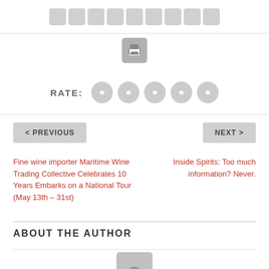[Figure (other): Row of social share icon buttons (grey rounded squares) and a print button below them]
RATE:
[Figure (other): Five grey star rating circles]
< PREVIOUS
NEXT >
Fine wine importer Maritime Wine Trading Collective Celebrates 10 Years Embarks on a National Tour (May 13th – 31st)
Inside Spirits: Too much information? Never.
ABOUT THE AUTHOR